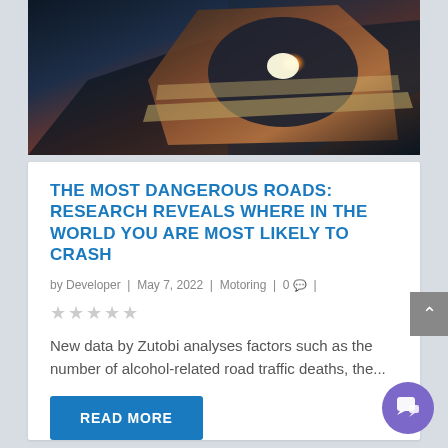[Figure (photo): Close-up photo of a car side mirror with a glowing amber/orange reflection, dark background with blue tones, dramatic lighting suggesting nighttime or dusk driving]
THE MOST DANGEROUS ROADS: RESEARCH REVEALS WHERE IN THE WORLD YOU ARE MOST LIKELY TO CRASH
by Developer | May 7, 2022 | Motoring | 0 | ★★★★★
New data by Zutobi analyses factors such as the number of alcohol-related road traffic deaths, the...
READ MORE